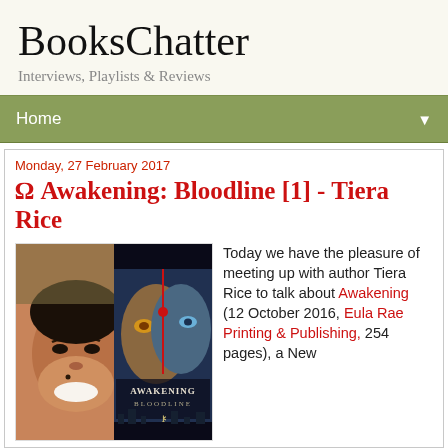BooksChatter
Interviews, Playlists & Reviews
Home ▼
Monday, 27 February 2017
⌀ Awakening: Bloodline [1] - Tiera Rice
[Figure (photo): Composite image showing author Tiera Rice smiling on the left and the Awakening: Bloodline book cover on the right, featuring two fantasy female faces merged together with the book title text.]
Today we have the pleasure of meeting up with author Tiera Rice to talk about Awakening (12 October 2016, Eula Rae Printing & Publishing, 254 pages), a New...